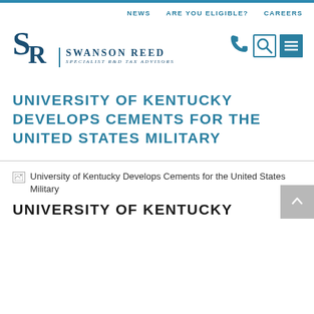NEWS   ARE YOU ELIGIBLE?   CAREERS
[Figure (logo): Swanson Reed SR logo with text 'SWANSON REED Specialist R&D Tax Advisors']
UNIVERSITY OF KENTUCKY DEVELOPS CEMENTS FOR THE UNITED STATES MILITARY
[Figure (photo): University of Kentucky Develops Cements for the United States Military (broken image placeholder)]
UNIVERSITY OF KENTUCKY